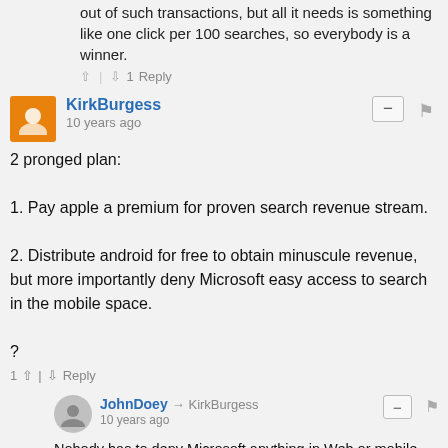out of such transactions, but all it needs is something like one click per 100 searches, so everybody is a winner.
▲ | ▼ 1  Reply
KirkBurgess
10 years ago
2 pronged plan:
1. Pay apple a premium for proven search revenue stream.
2. Distribute android for free to obtain minuscule revenue, but more importantly deny Microsoft easy access to search in the mobile space.
?
1 ▲ | ▼  Reply
JohnDoey → KirkBurgess
10 years ago
Nobody has to deny Microsoft anything in Web or mobile. Every new iteration of Microsoft's online strategy loses even more money. Every iteration of Microsoft's mobile phone system sells fewer models.
What Google has done is keep the Microsoft-centric idea of 3rd party